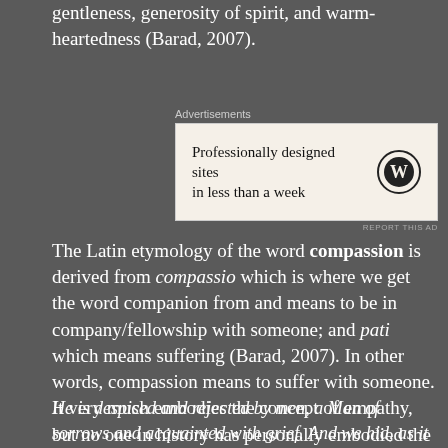gentleness, generosity of spirit, and warm-heartedness (Barad, 2007).
[Figure (screenshot): WordPress advertisement: 'Professionally designed sites in less than a week' with WordPress logo]
The Latin etymology of the word compassion is derived from compassio which is where we get the word companion from and means to be in company/fellowship with someone; and pati which means suffering (Barad, 2007). In other words, compassion means to suffer with someone. It very much embodies the concept of empathy, but no one in history has personally embodied the idea of compassion the way that Jesus of Nazareth did.
He is despised and rejected by men, a Man of sorrows and acquainted with grief. And we hid, as it were, our faces from Him...